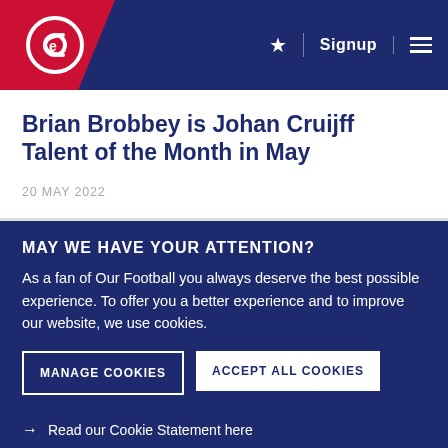Signup
Brian Brobbey is Johan Cruijff Talent of the Month in May
20 MAY 2022
MAY WE HAVE YOUR ATTENTION?
As a fan of Our Football you always deserve the best possible experience. To offer you a better experience and to improve our website, we use cookies.
MANAGE COOKIES
ACCEPT ALL COOKIES
Read our Cookie Statement here
Read more about the use of personal data